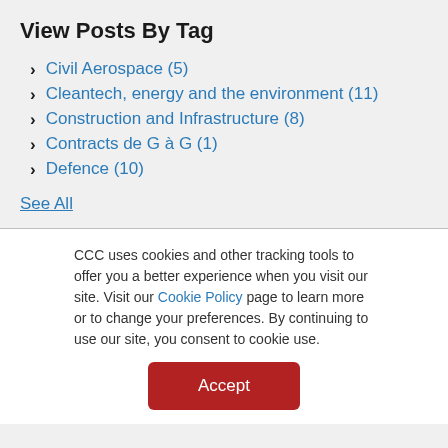View Posts By Tag
Civil Aerospace (5)
Cleantech, energy and the environment (11)
Construction and Infrastructure (8)
Contracts de G à G (1)
Defence (10)
See All
CCC uses cookies and other tracking tools to offer you a better experience when you visit our site. Visit our Cookie Policy page to learn more or to change your preferences. By continuing to use our site, you consent to cookie use.
Accept